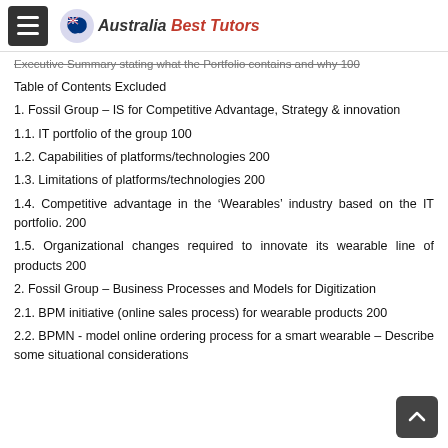Australia Best Tutors
Executive Summary stating what the Portfolio contains and why 100
Table of Contents Excluded
1. Fossil Group – IS for Competitive Advantage, Strategy & innovation
1.1. IT portfolio of the group 100
1.2. Capabilities of platforms/technologies 200
1.3. Limitations of platforms/technologies 200
1.4. Competitive advantage in the 'Wearables' industry based on the IT portfolio. 200
1.5. Organizational changes required to innovate its wearable line of products 200
2. Fossil Group – Business Processes and Models for Digitization
2.1. BPM initiative (online sales process) for wearable products 200
2.2. BPMN - model online ordering process for a smart wearable – Describe some situational considerations